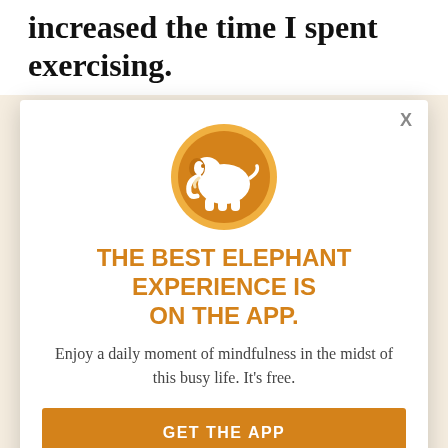increased the time I spent exercising.
Come rain, cold wind, or thunderstorms, I hiked five miles daily. On some days after work, I started to go on two-hour walks (yes, while practicing social distancing and all being careful and mindful, okay) and I practiced an hour of yoga to get my home weekend, if motivated, I practiced for hours at a time. On my solitary walks, I plugged in my headphones and caught up with friends and family. I didn't
[Figure (logo): Orange circle with white elephant logo for Elephant Journal app]
THE BEST ELEPHANT EXPERIENCE IS ON THE APP.
Enjoy a daily moment of mindfulness in the midst of this busy life. It's free.
GET THE APP
OPEN IN APP